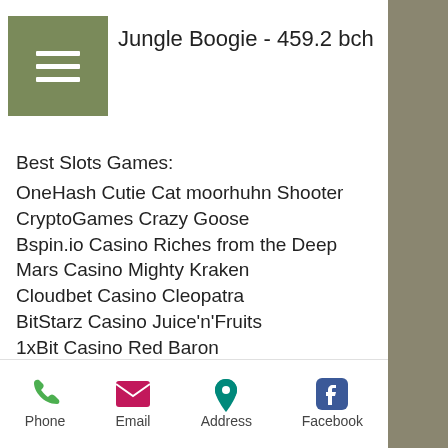Jungle Boogie - 459.2 bch
Best Slots Games:
OneHash Cutie Cat moorhuhn Shooter
CryptoGames Crazy Goose
Bspin.io Casino Riches from the Deep
Mars Casino Mighty Kraken
Cloudbet Casino Cleopatra
BitStarz Casino Juice'n'Fruits
1xBit Casino Red Baron
Bitcasino.io Royal Masquerade
Cloudbet Casino God of Wealth
Betcoin.ag Casino Goblin's Cave
Mars Casino Golden Profits
Betcoin.ag Casino Admiral Nelson
BitcoinCasino.us Geisha Story
CryptoWild Casino Mr.Vegas
Phone  Email  Address  Facebook